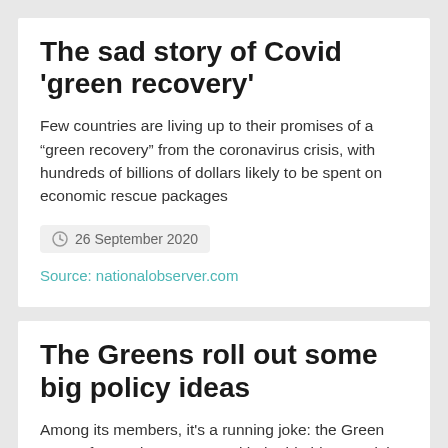The sad story of Covid 'green recovery'
Few countries are living up to their promises of a “green recovery” from the coronavirus crisis, with hundreds of billions of dollars likely to be spent on economic rescue packages
26 September 2020
Source: nationalobserver.com
The Greens roll out some big policy ideas
Among its members, it's a running joke: the Green Party of Canada comes up with the big ideas and the other parties rip them off